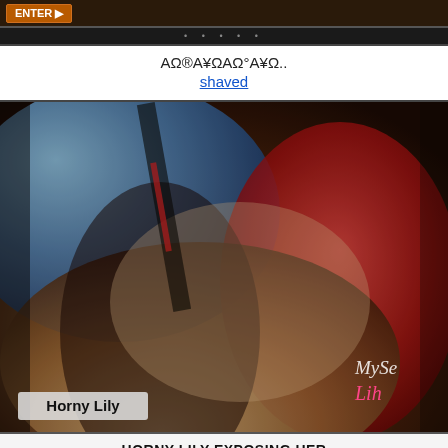[Figure (screenshot): Top navigation bar with orange button]
АΩ®А¥ΩАΩ°А¥Ω.. shaved
[Figure (photo): Video thumbnail showing woman in red shirt and jeans, watermark 'MySe Lih', label 'Horny Lily']
HORNY LILY EXPOSING HER